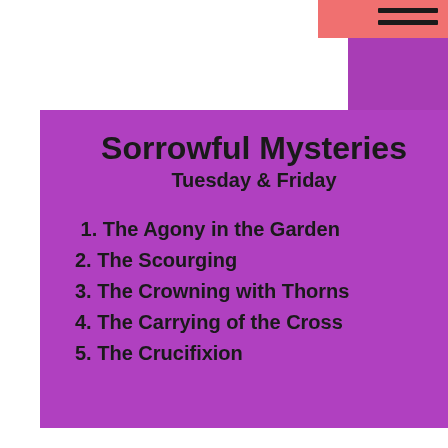Sorrowful Mysteries
Tuesday & Friday
1. The Agony in the Garden
2. The Scourging
3. The Crowning with Thorns
4. The Carrying of the Cross
5. The Crucifixion